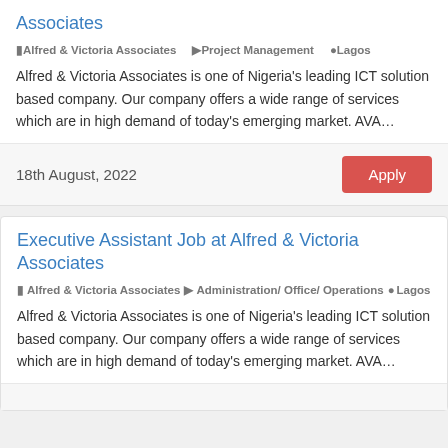Associates
Alfred & Victoria Associates   Project Management   Lagos
Alfred & Victoria Associates is one of Nigeria's leading ICT solution based company. Our company offers a wide range of services which are in high demand of today's emerging market. AVA…
18th August, 2022
Executive Assistant Job at Alfred & Victoria Associates
Alfred & Victoria Associates   Administration/ Office/ Operations   Lagos
Alfred & Victoria Associates is one of Nigeria's leading ICT solution based company. Our company offers a wide range of services which are in high demand of today's emerging market. AVA…